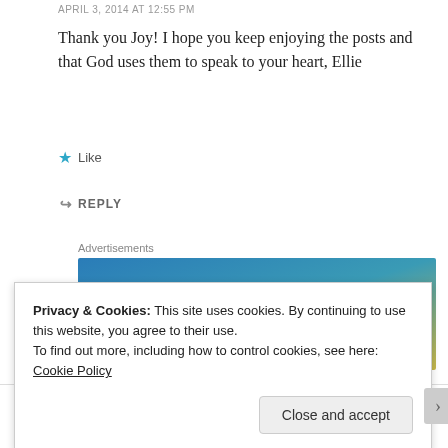APRIL 3, 2014 AT 12:55 PM
Thank you Joy! I hope you keep enjoying the posts and that God uses them to speak to your heart, Ellie
Like
REPLY
Advertisements
[Figure (other): WordPress advertisement banner: 'Create immersive stories. GET THE APP' with WordPress logo on blue-to-yellow gradient background]
Chris
Privacy & Cookies: This site uses cookies. By continuing to use this website, you agree to their use.
To find out more, including how to control cookies, see here: Cookie Policy
Close and accept